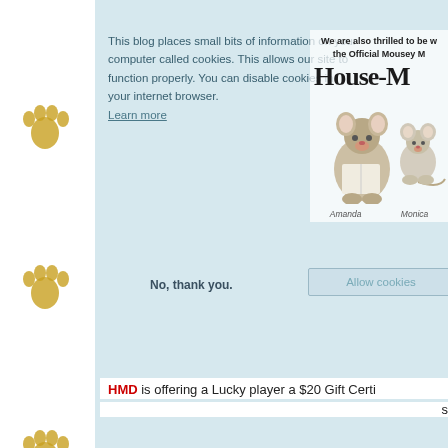[Figure (illustration): Cookie consent overlay on a blog page with light blue-green background. Contains cookie notice text, No thank you button, Allow cookies button. Overlapping with House-Mouse Designs panel showing mouse characters named Amanda and Monica.]
This blog places small bits of information on your computer called cookies. This allows our site to function properly. You can disable cookies in your internet browser. Learn more
We are also thrilled to be w the Official Mousey
House-M
Amanda    Monica
No, thank you.
Allow cookies
HMD is offering a Lucky player a $20 Gift Certi
s
Our Seco
Di